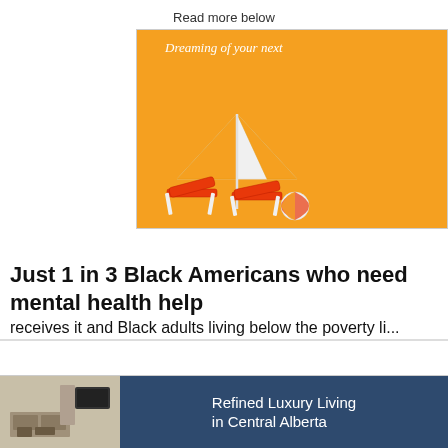Read more below
[Figure (illustration): Orange background advertisement with beach chairs, beach umbrella, and beach ball illustration. Text reads 'Dreaming of your next']
Just 1 in 3 Black Americans who need mental health help receives it and Black adults living below the poverty li...
[Figure (photo): Bottom banner advertisement showing a luxury living room and text 'Refined Luxury Living in Central Alberta' on dark blue background]